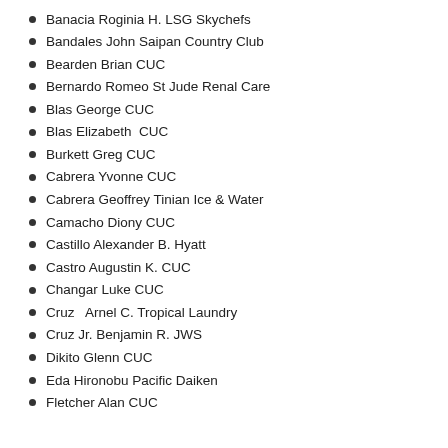Banacia Roginia H. LSG Skychefs
Bandales John Saipan Country Club
Bearden Brian CUC
Bernardo Romeo St Jude Renal Care
Blas George CUC
Blas Elizabeth  CUC
Burkett Greg CUC
Cabrera Yvonne CUC
Cabrera Geoffrey Tinian Ice & Water
Camacho Diony CUC
Castillo Alexander B. Hyatt
Castro Augustin K. CUC
Changar Luke CUC
Cruz   Arnel C. Tropical Laundry
Cruz Jr. Benjamin R. JWS
Dikito Glenn CUC
Eda Hironobu Pacific Daiken
Fletcher Alan CUC